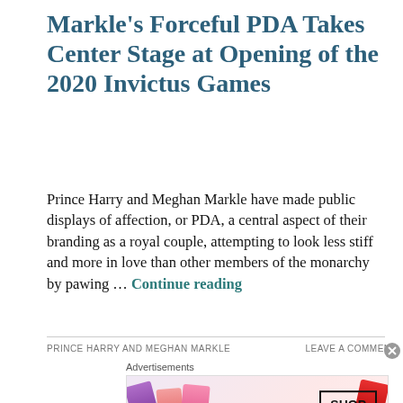Markle's Forceful PDA Takes Center Stage at Opening of the 2020 Invictus Games
Prince Harry and Meghan Markle have made public displays of affection, or PDA, a central aspect of their branding as a royal couple, attempting to look less stiff and more in love than other members of the monarchy by pawing … Continue reading
PRINCE HARRY AND MEGHAN MARKLE    LEAVE A COMMENT
[Figure (photo): Advertisement banner showing MAC cosmetics lipsticks in purple, pink and red shades with MAC logo and SHOP NOW button]